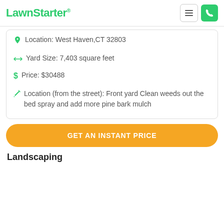LawnStarter®
Location: West Haven,CT 32803
Yard Size: 7,403 square feet
Price: $30488
Location (from the street): Front yard Clean weeds out the bed spray and add more pine bark mulch
GET AN INSTANT PRICE
Landscaping